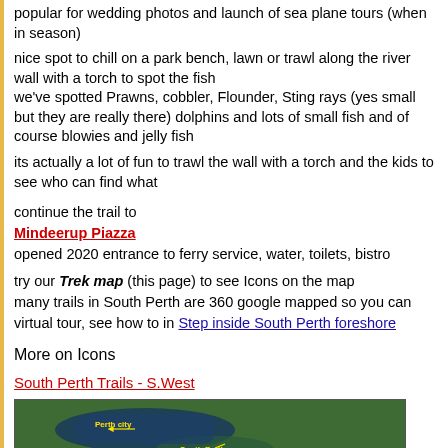popular for wedding photos and launch of sea plane tours (when in season)
nice spot to chill on a park bench, lawn or trawl along the river wall with a torch to spot the fish
we've spotted Prawns, cobbler, Flounder, Sting rays (yes small but they are really there) dolphins and lots of small fish and of course blowies and jelly fish
its actually a lot of fun to trawl the wall with a torch and the kids to see who can find what
continue the trail to
Mindeerup Piazza
opened 2020 entrance to ferry service, water, toilets, bistro
try our Trek map (this page) to see Icons on the map
many trails in South Perth are 360 google mapped so you can virtual tour, see how to in Step inside South Perth foreshore
More on Icons
South Perth Trails - S.West
[Figure (map): Aerial map showing Perth city and South Perth area with yellow labels and arrows indicating locations]